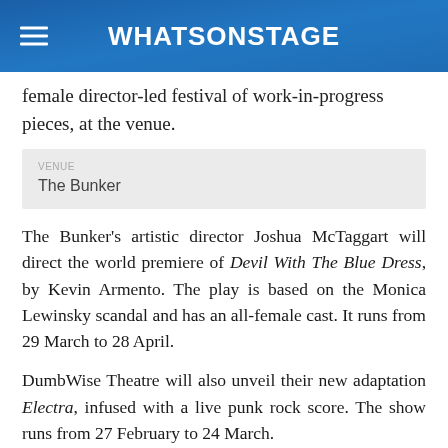WhatsOnStage
female director-led festival of work-in-progress pieces, at the venue.
The Bunker
The Bunker's artistic director Joshua McTaggart will direct the world premiere of Devil With The Blue Dress, by Kevin Armento. The play is based on the Monica Lewinsky scandal and has an all-female cast. It runs from 29 March to 28 April.
DumbWise Theatre will also unveil their new adaptation Electra, infused with a live punk rock score. The show runs from 27 February to 24 March.